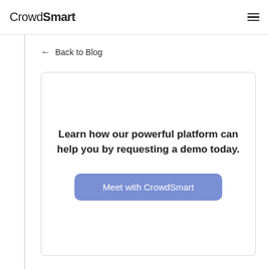CrowdSmart
← Back to Blog
Learn how our powerful platform can help you by requesting a demo today.
Meet with CrowdSmart